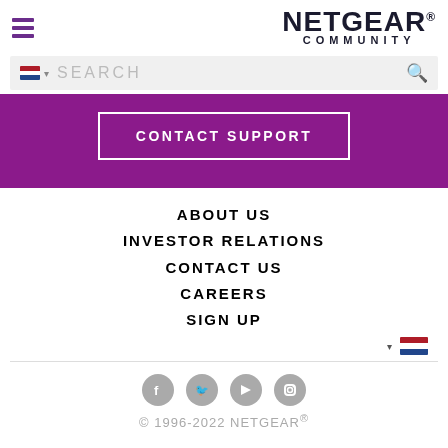[Figure (logo): NETGEAR Community logo with hamburger menu icon]
[Figure (screenshot): Search bar with Dutch flag dropdown and search icon]
[Figure (screenshot): Purple banner with CONTACT SUPPORT button]
ABOUT US
INVESTOR RELATIONS
CONTACT US
CAREERS
SIGN UP
[Figure (screenshot): Language selector with Dutch flag]
[Figure (screenshot): Social media icons: Facebook, Twitter, YouTube, Instagram]
© 1996-2022 NETGEAR®